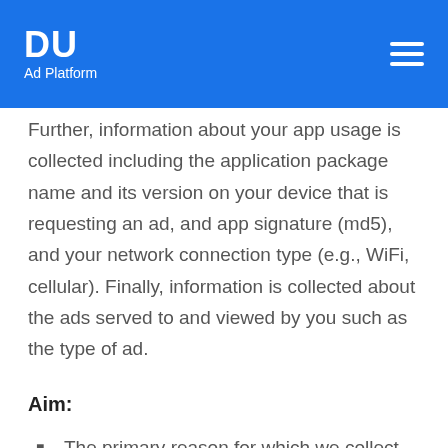DU Ad Platform
Further, information about your app usage is collected including the application package name and its version on your device that is requesting an ad, and app signature (md5), and your network connection type (e.g., WiFi, cellular). Finally, information is collected about the ads served to and viewed by you such as the type of ad.
Aim:
The primary reason for which we collect the abovementioned information, is to enable